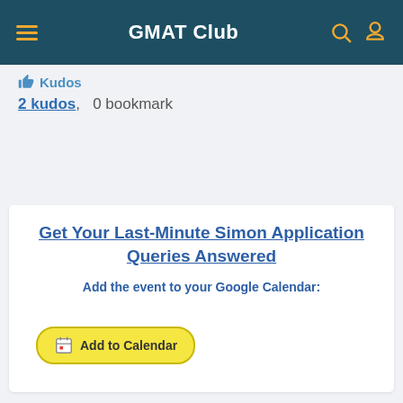GMAT Club
Kudos
2 kudos,  0 bookmark
Announcements
Get Your Last-Minute Simon Application Queries Answered
Add the event to your Google Calendar:
[Figure (other): Add to Calendar button with calendar emoji icon]